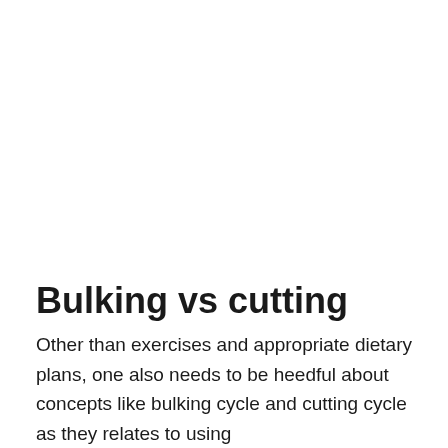Bulking vs cutting
Other than exercises and appropriate dietary plans, one also needs to be heedful about concepts like bulking cycle and cutting cycle as they relates to using